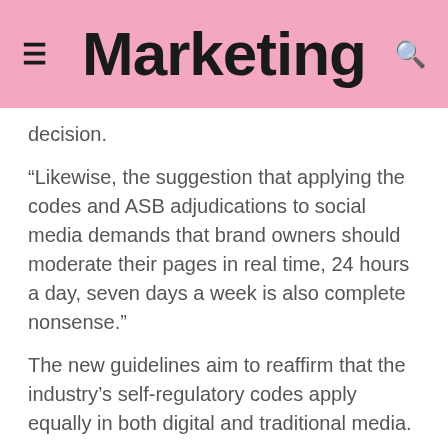Marketing
decision.
“Likewise, the suggestion that applying the codes and ASB adjudications to social media demands that brand owners should moderate their pages in real time, 24 hours a day, seven days a week is also complete nonsense.”
The new guidelines aim to reaffirm that the industry’s self-regulatory codes apply equally in both digital and traditional media.
Tags:  News